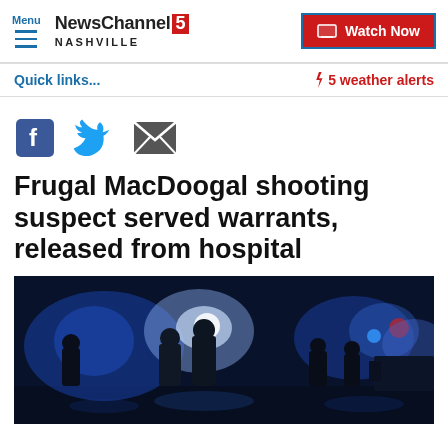Menu | NewsChannel 5 NASHVILLE | Watch Now
Quick links...
5 weather alerts
[Figure (other): Social share icons: Facebook (blue square with f), Twitter (blue bird), Email (grey envelope)]
Frugal MacDoogal shooting suspect served warrants, released from hospital
[Figure (photo): Night scene showing police officers silhouetted against blue flashing lights from emergency vehicles, outdoor street setting]